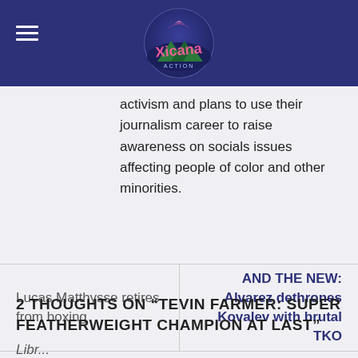Xicana Action [logo]
activism and plans to use their journalism career to raise awareness on socials issues affecting people of color and other minorities.
Lucas Matthysse retires from boxing
AND THE NEW: Alvarez dethrones Kovalev with brutal TKO
2 THOUGHTS ON "TEVIN FARMER: SUPER FEATHERWEIGHT CHAMPION AT LAST"
Libr...